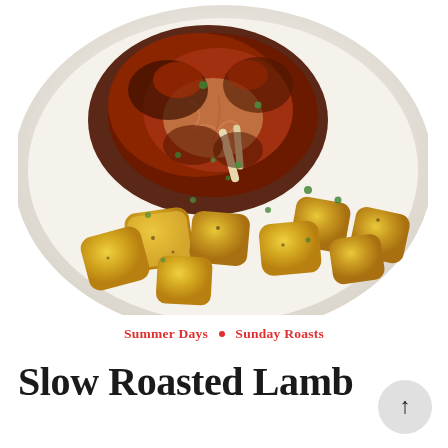[Figure (photo): Overhead photo of slow roasted lamb on a white plate, pulled apart to show tender meat and bones, garnished with fresh herbs, surrounded by golden roasted potato chunks seasoned with herbs and spices.]
Summer Days • Sunday Roasts
Slow Roasted Lamb